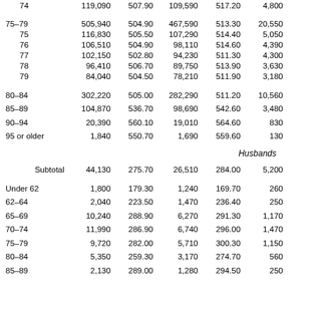| Age | Total Number | Total Avg | Col3 Number | Col3 Avg | Col5 Number | Col5+ |
| --- | --- | --- | --- | --- | --- | --- |
| 74 | 119,090 | 507.90 | 109,590 | 517.20 | 4,800 |  |
| 75–79 | 505,940 | 504.90 | 467,590 | 513.30 | 20,550 |  |
| 75 | 116,830 | 505.50 | 107,290 | 514.40 | 5,050 |  |
| 76 | 106,510 | 504.90 | 98,110 | 514.60 | 4,390 |  |
| 77 | 102,150 | 502.80 | 94,230 | 511.30 | 4,300 |  |
| 78 | 96,410 | 506.70 | 89,750 | 513.90 | 3,630 |  |
| 79 | 84,040 | 504.50 | 78,210 | 511.90 | 3,180 |  |
| 80–84 | 302,220 | 505.00 | 282,290 | 511.20 | 10,560 |  |
| 85–89 | 104,870 | 536.70 | 98,690 | 542.60 | 3,480 |  |
| 90–94 | 20,390 | 560.10 | 19,010 | 564.60 | 830 |  |
| 95 or older | 1,840 | 550.70 | 1,690 | 559.60 | 130 |  |
| Husbands |  |  |  |  |  |  |
| Subtotal | 44,130 | 275.70 | 26,510 | 284.00 | 5,200 |  |
| Under 62 | 1,800 | 179.30 | 1,240 | 169.70 | 260 |  |
| 62–64 | 2,040 | 223.50 | 1,470 | 236.40 | 250 |  |
| 65–69 | 10,240 | 288.90 | 6,270 | 291.30 | 1,170 |  |
| 70–74 | 11,990 | 286.90 | 6,740 | 296.00 | 1,470 |  |
| 75–79 | 9,720 | 282.00 | 5,710 | 300.30 | 1,150 |  |
| 80–84 | 5,350 | 259.30 | 3,170 | 274.70 | 560 |  |
| 85–89 | 2,130 | 289.00 | 1,280 | 294.50 | 250 |  |